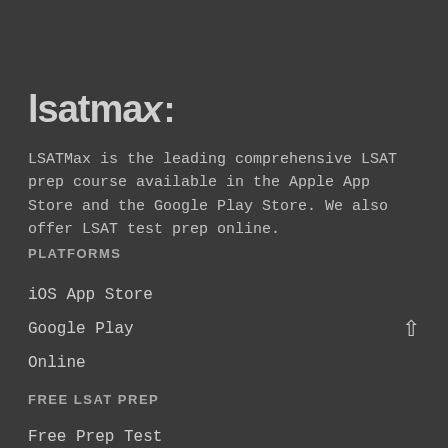lsatmax
LSATMax is the leading comprehensive LSAT prep course available in the Apple App Store and the Google Play Store. We also offer LSAT test prep online.
PLATFORMS
iOS App Store
Google Play
Online
FREE LSAT PREP
Free Prep Test
Prep Test Explanations